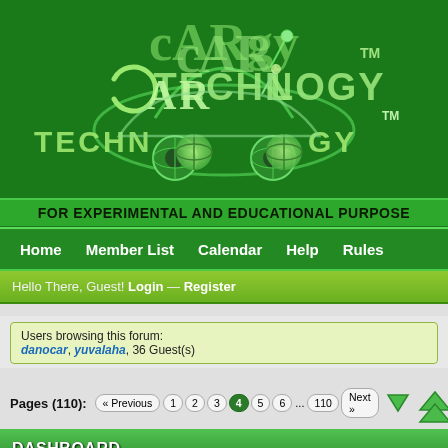[Figure (logo): CarTechnology logo with green car silhouette and globe tires on dark green background]
FOR EXPERIMENTAL AND EDUCATIONAL PURPOSE
Home  Member List  Calendar  Help  Rules
Hello There, Guest! Login — Register
Users browsing this forum:
danocar, yuvalaha, 36 Guest(s)
Pages (110): « Previous  1  2  3  4  5  6  ...  110  Next »
DASHBOARD
Thread / Author
Solved ✓  Fiat Ducato Marelli 9DF need milage correction